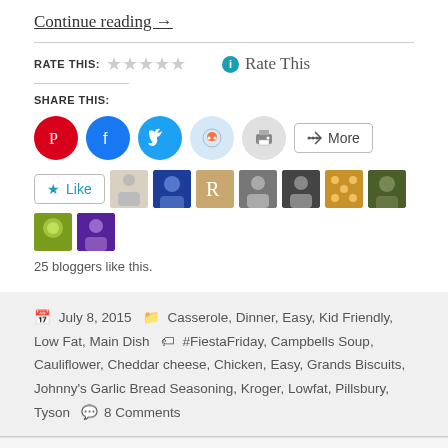Continue reading →
RATE THIS: ☆☆☆☆☆ Rate This
SHARE THIS:
[Figure (infographic): Social share buttons: Pinterest (red), Facebook (blue), Twitter (light blue), Reddit (light blue), Print (grey), More button]
[Figure (infographic): Like button and blogger avatars (25 bloggers like this)]
25 bloggers like this.
July 8, 2015  Casserole, Dinner, Easy, Kid Friendly, Low Fat, Main Dish  #FiestaFriday, Campbells Soup, Cauliflower, Cheddar cheese, Chicken, Easy, Grands Biscuits, Johnny's Garlic Bread Seasoning, Kroger, Lowfat, Pillsbury, Tyson  8 Comments
Blog at WordPress.com.